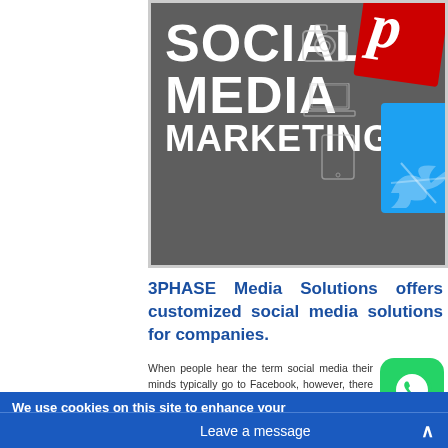[Figure (photo): Social Media Marketing banner image with bold white text 'SOCIAL MEDIA MARKETING' on dark gray background, with social media icons (Pinterest red card with 'p', blue Twitter/Facebook card) and device icons on the right side]
3PHASE Media Solutions offers customized social media solutions for companies.
When people hear the term social media their minds typically go to Facebook, however, there are many platforms out there and finding ways to connect with your customers is the real key.
We'll help develop a social strategy with you based upon your company's
We use cookies on this site to enhance your experience
Leave a message